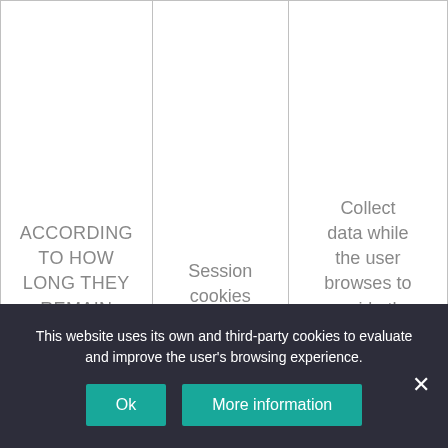| ACCORDING TO HOW LONG THEY REMAIN ACTIVE | Session cookies | Collect data while the user browses to provide the service requested. |
|  | Persistent cookies | Stored on the device. The information |
This website uses its own and third-party cookies to evaluate and improve the user's browsing experience.